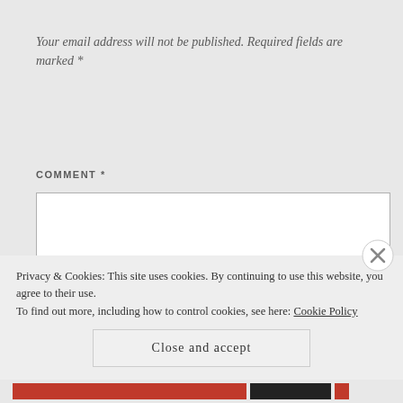Your email address will not be published. Required fields are marked *
COMMENT *
[Figure (other): Empty comment text area input box with white background and grey border]
Privacy & Cookies: This site uses cookies. By continuing to use this website, you agree to their use.
To find out more, including how to control cookies, see here: Cookie Policy
Close and accept